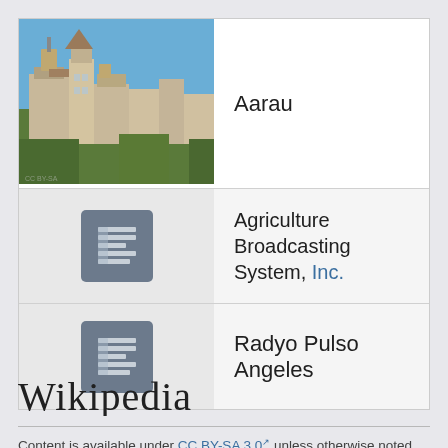Aarau
Agriculture Broadcasting System, Inc.
Radyo Pulso Angeles
[Figure (logo): Wikipedia wordmark logo]
Content is available under CC BY-SA 3.0 unless otherwise noted.
Pamangalang king katulirang pribadu (Privacy policy) • Terms of Use • Desktop